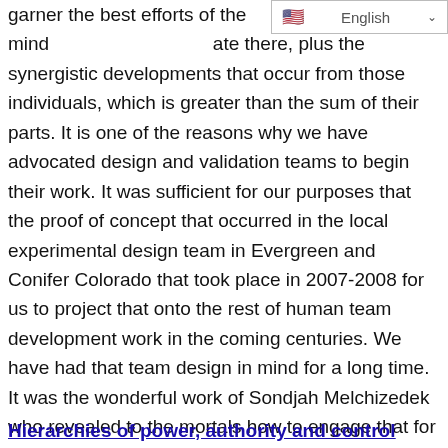garner the best efforts of the mind ... ate there, plus the synergistic developments that occur from those individuals, which is greater than the sum of their parts. It is one of the reasons why we have advocated design and validation teams to begin their work. It was sufficient for our purposes that the proof of concept that occurred in the local experimental design team in Evergreen and Conifer Colorado that took place in 2007-2008 for us to project that onto the rest of human team development work in the coming centuries. We have had that team design in mind for a long time. It was the wonderful work of Sondjah Melchizedek who revealed to the mortals how to engage that for the best purposes. Sondjah is very welcome and open to assist you in your efforts.
Hierarchies of power, authority and control